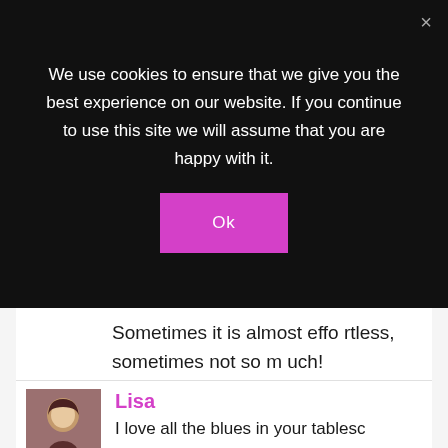We use cookies to ensure that we give you the best experience on our website. If you continue to use this site we will assume that you are happy with it.
Ok
Sometimes it is almost effortless, sometimes not so much!
REPLY
[Figure (photo): Avatar photo of commenter Lisa, a woman with dark hair]
Lisa
I love all the blues in your tablesc